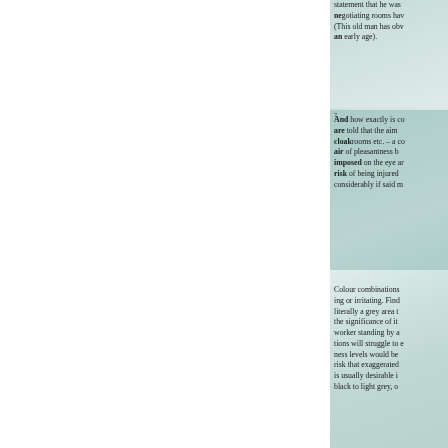statement that he was negotiating rooms hav (This old man has obv an early age).
And how exactly is co are told that the aim cloakrooms etc. – a co air of pleasantness b imposed on the eye ar risk of being injured considerably if said m
Colour combinations ing or irritating. Find literally a grey area t the significance of it worker standing by a tions will struggle to e ness levels would be risk that exaggerated is usually desirable i black to light grey, o